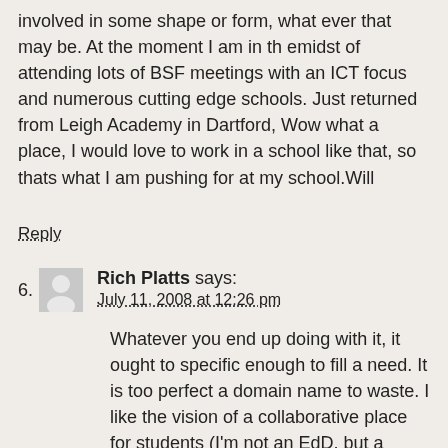involved in some shape or form, what ever that may be. At the moment I am in th emidst of attending lots of BSF meetings with an ICT focus and numerous cutting edge schools. Just returned from Leigh Academy in Dartford, Wow what a place, I would love to work in a school like that, so thats what I am pushing for at my school.Will
Reply
6. Rich Platts says: July 11, 2008 at 12:26 pm
Whatever you end up doing with it, it ought to specific enough to fill a need. It is too perfect a domain name to waste. I like the vision of a collaborative place for students (I'm not an EdD, but a Masters in Public Management in Technology Management)